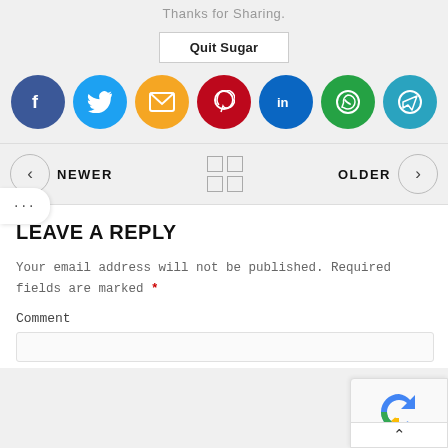Thanks for Sharing.
[Figure (other): Quit Sugar button - a rectangular button with border]
[Figure (other): Social sharing icons row: Facebook (blue circle), Twitter (cyan circle), Email (orange circle), Pinterest (red circle), LinkedIn (dark blue circle), WhatsApp (green circle), Telegram (teal circle)]
[Figure (other): Navigation bar with NEWER left arrow, grid icon center, OLDER right arrow]
LEAVE A REPLY
Your email address will not be published. Required fields are marked *
Comment